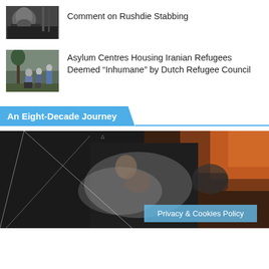[Figure (photo): Thumbnail photo of a bearded man in black clothing, outdoor scene]
Comment on Rushdie Stabbing
[Figure (photo): Thumbnail photo of people gathered outdoors, some sitting or kneeling on grass]
Asylum Centres Housing Iranian Refugees Deemed “Inhumane” by Dutch Refugee Council
An Eight-Decade Journey
[Figure (photo): Large dark video thumbnail showing blurred figures with orange and grey tones, geometric triangle overlay lines]
Privacy & Cookies Policy